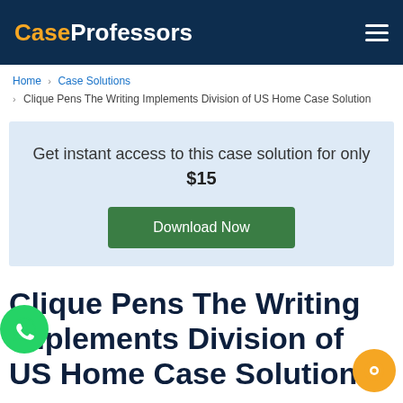CaseProfessors
Home > Case Solutions > Clique Pens The Writing Implements Division of US Home Case Solution
Get instant access to this case solution for only $15
Download Now
Clique Pens The Writing Implements Division of US Home Case Solution